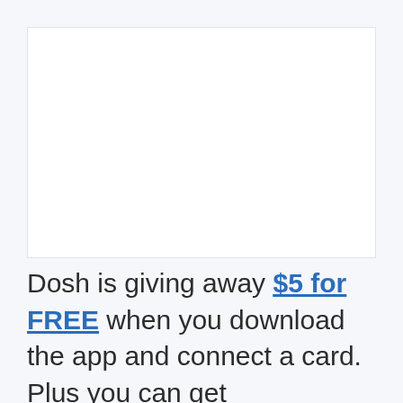Dosh is giving away $5 for FREE when you download the app and connect a card.  Plus you can get $15 Credits for referring your friends!  Share your link in the